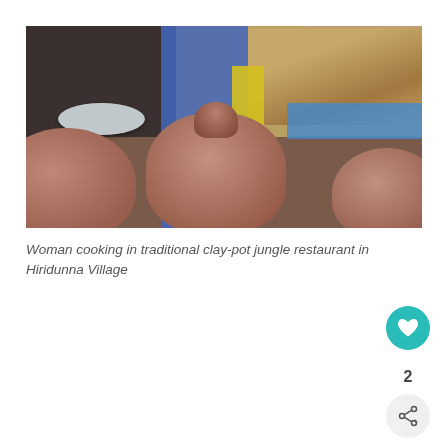[Figure (photo): Photo of clay pots in foreground at a traditional jungle restaurant in Hiridunna Village, with kitchen utensils, colorful fabric, metal bowls, and baskets visible in the background.]
Woman cooking in traditional clay-pot jungle restaurant in Hiridunna Village